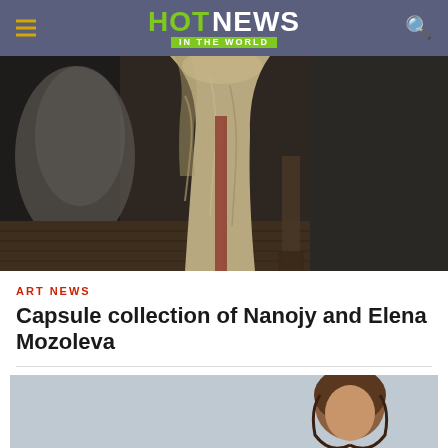HOT NEWS IN THE WORLD
[Figure (photo): Fashion photo: a figure in a long draped gown with reddish fabric accent, standing in a moody dark interior with textured walls and wooden floor]
ART NEWS
Capsule collection of Nanojy and Elena Mozoleva
[Figure (photo): Second fashion photo: a woman with brown hair against a grey-blue background]